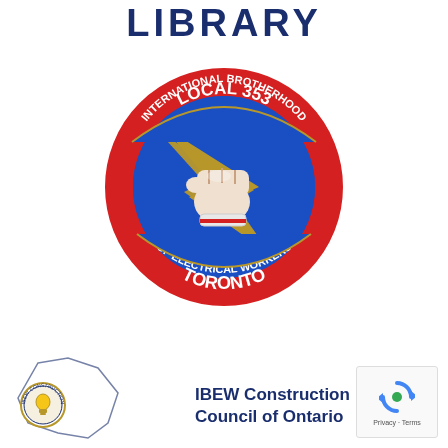LIBRARY
[Figure (logo): IBEW Local 353 Toronto circular logo — International Brotherhood of Electrical Workers. Blue and red circular badge with gold border, featuring a fist holding lightning bolts in the center. Text reads LOCAL 353 at top, INTERNATIONAL BROTHERHOOD OF ELECTRICAL WORKERS around the ring, TORONTO at bottom.]
[Figure (logo): IBEW Construction Council of Ontario small circular seal logo with map outline of Ontario in background]
IBEW Construction Council of Ontario
[Figure (other): reCAPTCHA widget box showing Privacy - Terms]